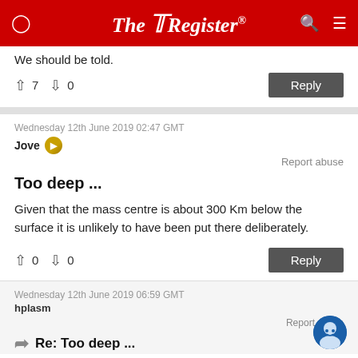The Register
We should be told.
↑7  ↓0   Reply
Wednesday 12th June 2019 02:47 GMT
Jove
Report abuse
Too deep ...
Given that the mass centre is about 300 Km below the surface it is unlikely to have been put there deliberately.
↑0  ↓0   Reply
Wednesday 12th June 2019 06:59 GMT
hplasm
Report abuse
Re: Too deep ...